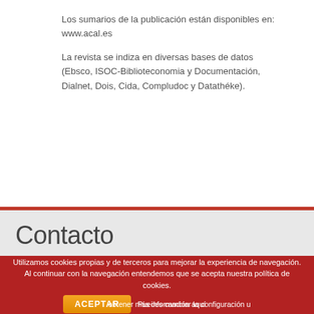Los sumarios de la publicación están disponibles en: www.acal.es

La revista se indiza en diversas bases de datos (Ebsco, ISOC-Biblioteconomia y Documentación, Dialnet, Dois, Cida, Compludoc y Datathéke).
Contacto
Utilizamos cookies propias y de terceros para mejorar la experiencia de navegación. Al continuar con la navegación entendemos que se acepta nuestra política de cookies. ACEPTAR Puedes cambiar la configuración u obtener más información aquí